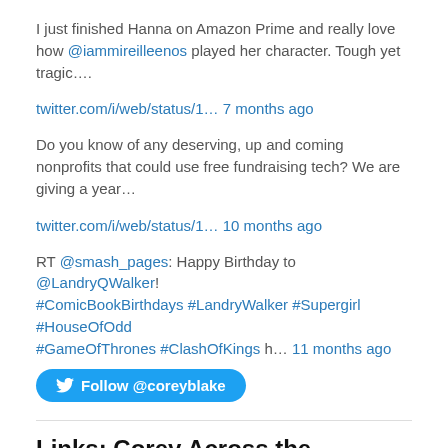I just finished Hanna on Amazon Prime and really love how @iammireilleenos played her character. Tough yet tragic….
twitter.com/i/web/status/1… 7 months ago
Do you know of any deserving, up and coming nonprofits that could use free fundraising tech?  We are giving a year…
twitter.com/i/web/status/1… 10 months ago
RT @smash_pages: Happy Birthday to @LandryQWalker! #ComicBookBirthdays #LandryWalker #Supergirl #HouseOfOdd #GameOfThrones #ClashOfKings h… 11 months ago
Follow @coreyblake
Links: Corey Across the Internets
Corey Blake Message Board
Corey Blake YouTube Channel
Corey's Facebook